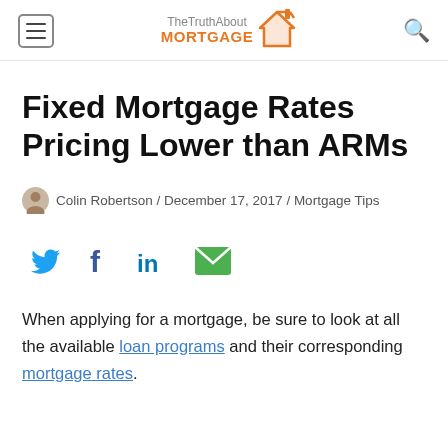TheTruthAbout MORTGAGE
Fixed Mortgage Rates Pricing Lower than ARMs
Colin Robertson / December 17, 2017 / Mortgage Tips
[Figure (infographic): Social share icons: Twitter (blue bird), Facebook (blue f), LinkedIn (blue in), Email (green envelope)]
When applying for a mortgage, be sure to look at all the available loan programs and their corresponding mortgage rates.